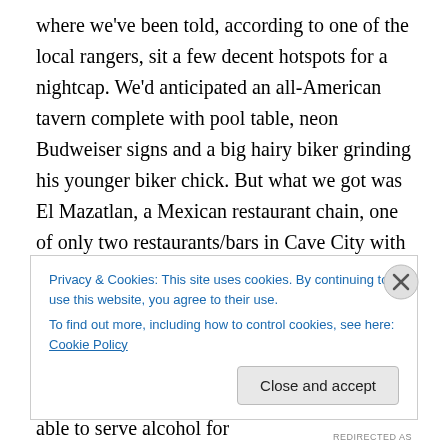where we've been told, according to one of the local rangers, sit a few decent hotspots for a nightcap. We'd anticipated an all-American tavern complete with pool table, neon Budweiser signs and a big hairy biker grinding his younger biker chick. But what we got was El Mazatlan, a Mexican restaurant chain, one of only two restaurants/bars in Cave City with a liqueur license. Though actually this is no huge surprise given local voters only passed a referendum allowing bars and restaurants to serve alcohol in November 2005. Providing they meet certain criteria. restaurants were able to serve alcohol for
Privacy & Cookies: This site uses cookies. By continuing to use this website, you agree to their use.
To find out more, including how to control cookies, see here: Cookie Policy
Close and accept
REDIRECTED AS